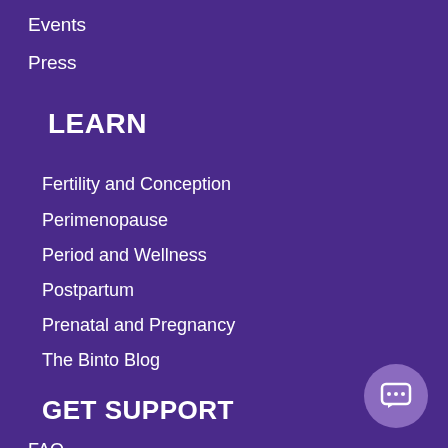Events
Press
LEARN
Fertility and Conception
Perimenopause
Period and Wellness
Postpartum
Prenatal and Pregnancy
The Binto Blog
GET SUPPORT
FAQ
Terms Of Use
Privacy Policy